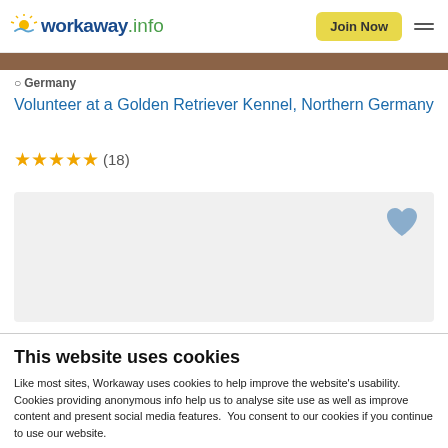workaway.info | Join Now
[Figure (photo): Partial brown/earthy colored hero image strip at top of listing page]
Germany
Volunteer at a Golden Retriever Kennel, Northern Germany
★★★★★ (18)
[Figure (other): Light gray card placeholder area with a blue/slate colored heart icon in the top-right corner]
This website uses cookies
Like most sites, Workaway uses cookies to help improve the website's usability. Cookies providing anonymous info help us to analyse site use as well as improve content and present social media features.  You consent to our cookies if you continue to use our website.
OK
Settings